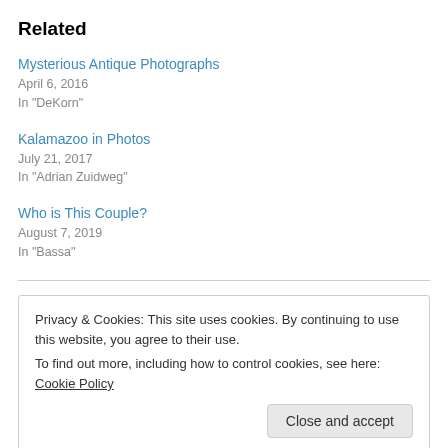Related
Mysterious Antique Photographs
April 6, 2016
In "DeKorn"
Kalamazoo in Photos
July 21, 2017
In "Adrian Zuidweg"
Who is This Couple?
August 7, 2019
In "Bassa"
Privacy & Cookies: This site uses cookies. By continuing to use this website, you agree to their use.
To find out more, including how to control cookies, see here: Cookie Policy